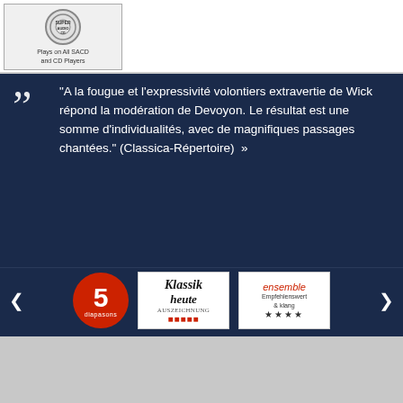[Figure (logo): SACD logo badge: circular SACD symbol above text 'Plays on All SACD and CD Players']
"A la fougue et l'expressivité volontiers extravertie de Wick répond la modération de Devoyon. Le résultat est une somme d'individualités, avec de magnifiques passages chantées." (Classica-Répertoire) »
[Figure (logo): Three review badges: 5 Diapasons (red circle), Klassik Heute (Auszeichnung, red dots), ensemble (Empfehlenswert & klang, 4 stars)]
[Figure (infographic): Navigation tab bar with 5 icons: music note, info (i), plus, speech bubble (active, gold), grid list]
Reviews
Wir verwenden Cookies, um Ihnen ein angenehmeres Surfen zu ermöglichen.
Akzeptieren  Information